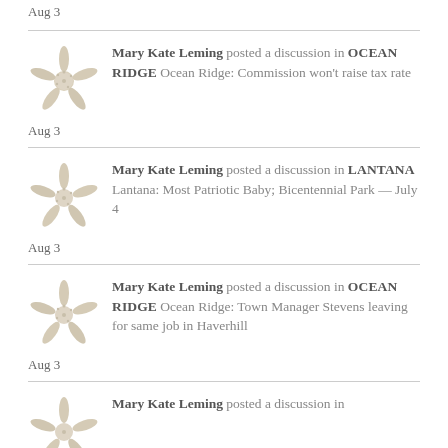Aug 3
Mary Kate Leming posted a discussion in OCEAN RIDGE Ocean Ridge: Commission won't raise tax rate
Aug 3
Mary Kate Leming posted a discussion in LANTANA Lantana: Most Patriotic Baby; Bicentennial Park — July 4
Aug 3
Mary Kate Leming posted a discussion in OCEAN RIDGE Ocean Ridge: Town Manager Stevens leaving for same job in Haverhill
Aug 3
Mary Kate Leming posted a discussion in